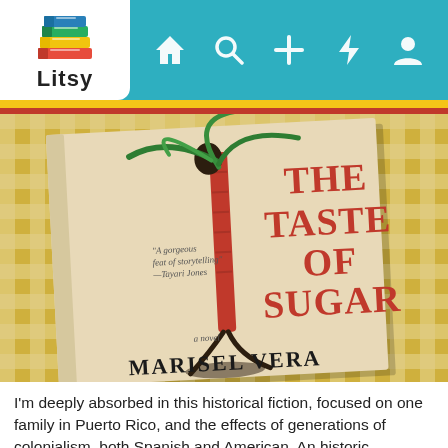[Figure (screenshot): Litsy app navigation bar with logo (stacked colorful books icon and 'Litsy' text) on white background, and icons for home, search, add, activity, and profile on teal background. Yellow and red accent stripes below.]
[Figure (photo): Book cover of 'The Taste of Sugar' by Marisel Vera, featuring a sugar cane plant illustration with red block lettering for the title and large black serif text for the author name, photographed on a yellow gingham cloth background.]
I'm deeply absorbed in this historical fiction, focused on one family in Puerto Rico, and the effects of generations of colonialism, both Spanish and American. An historic hurricane compounded the